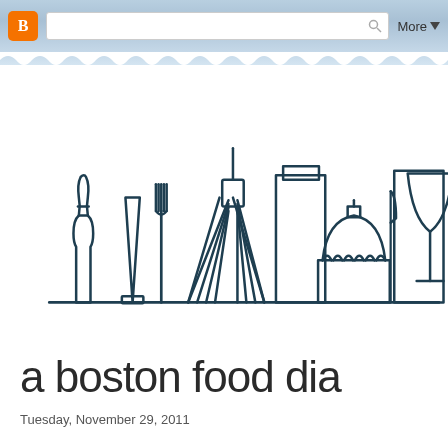Blogger navigation bar with search and More button
[Figure (illustration): Boston food diary blog logo: line-art illustration of Boston skyline featuring a wine bottle, obelisk monument, fork, Zakim Bridge cables, a domed building (Faneuil Hall / State House), modern skyscrapers, a knife, and a martini/wine glass, all in dark teal outline style on white background]
a boston food dia
Tuesday, November 29, 2011